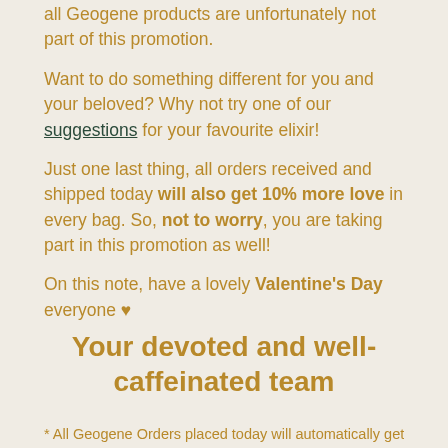all Geogene products are unfortunately not part of this promotion.
Want to do something different for you and your beloved? Why not try one of our suggestions for your favourite elixir!
Just one last thing, all orders received and shipped today will also get 10% more love in every bag. So, not to worry, you are taking part in this promotion as well!
On this note, have a lovely Valentine's Day everyone ♥
Your devoted and well-caffeinated team
* All Geogene Orders placed today will automatically get a 10% ...